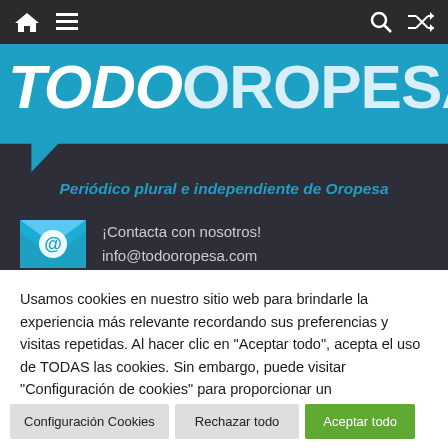[Figure (screenshot): Website navigation bar with home icon, hamburger menu, search icon, and shuffle icon on dark background]
[Figure (logo): TodoOropesa website logo - blue speech bubble with bold white text TODOOROPESA and tagline 'Periódico plural e independiente de Oropesa' in teal italic text on dark background]
[Figure (illustration): Email envelope icon in blue with @ symbol]
¡Contacta con nosotros!
info@todooropesa.com
Usamos cookies en nuestro sitio web para brindarle la experiencia más relevante recordando sus preferencias y visitas repetidas. Al hacer clic en "Aceptar todo", acepta el uso de TODAS las cookies. Sin embargo, puede visitar "Configuración de cookies" para proporcionar un consentimiento controlado.
Configuración Cookies
Rechazar todo
Aceptar todo